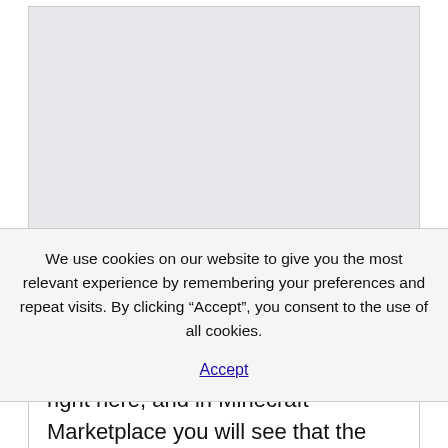[Figure (screenshot): Gray/light panel area at top of page, appears to be a screenshot or image placeholder with light gray textured background]
We use cookies on our website to give you the most relevant experience by remembering your preferences and repeat visits. By clicking “Accept”, you consent to the use of all cookies.
Accept
right here, and in Minecraft Marketplace you will see that the sale is still sailing together with giveaways, diminished prices, and every day doorbusters! Every pilot is